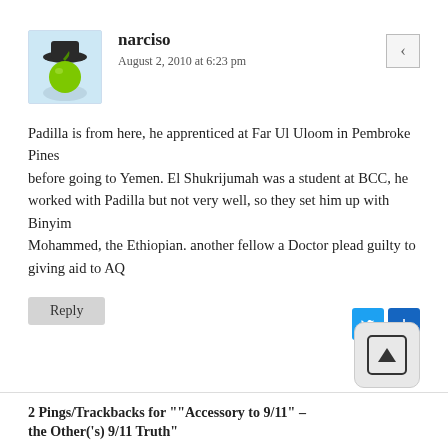[Figure (illustration): Avatar image of a cartoon character (apple wearing a hat) on light blue background]
narciso
August 2, 2010 at 6:23 pm
Padilla is from here, he apprenticed at Far Ul Uloom in Pembroke Pines
before going to Yemen. El Shukrijumah was a student at BCC, he worked with Padilla but not very well, so they set him up with Binyim
Mohammed, the Ethiopian. another fellow a Doctor plead guilty to giving aid to AQ
Reply
2 Pings/Trackbacks for ""Accessory to 9/11" – the Other('s) 9/11 Truth"